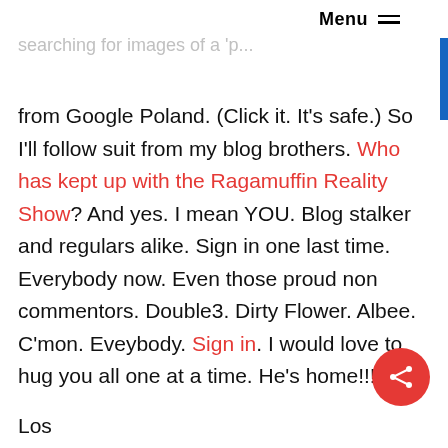Menu ≡
And only 33 of those were people searching for images of a 'p...'
from Google Poland. (Click it. It's safe.) So I'll follow suit from my blog brothers. Who has kept up with the Ragamuffin Reality Show? And yes. I mean YOU. Blog stalker and regulars alike. Sign in one last time. Everybody now. Even those proud non commentors. Double3. Dirty Flower. Albee. C'mon. Eveybody. Sign in. I would love to hug you all one at a time. He's home!!!
Los